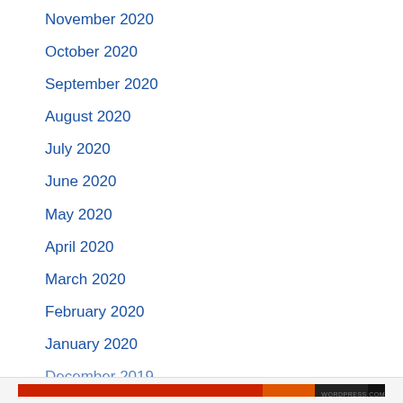November 2020
October 2020
September 2020
August 2020
July 2020
June 2020
May 2020
April 2020
March 2020
February 2020
January 2020
December 2019
Privacy & Cookies: This site uses cookies. By continuing to use this website, you agree to their use.
To find out more, including how to control cookies, see here: Cookie Policy